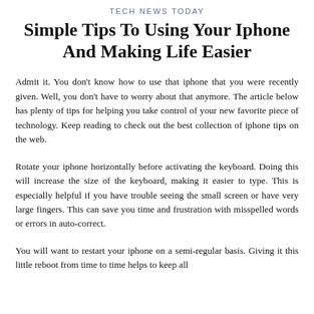TECH NEWS TODAY
Simple Tips To Using Your Iphone And Making Life Easier
Admit it. You don't know how to use that iphone that you were recently given. Well, you don't have to worry about that anymore. The article below has plenty of tips for helping you take control of your new favorite piece of technology. Keep reading to check out the best collection of iphone tips on the web.
Rotate your iphone horizontally before activating the keyboard. Doing this will increase the size of the keyboard, making it easier to type. This is especially helpful if you have trouble seeing the small screen or have very large fingers. This can save you time and frustration with misspelled words or errors in auto-correct.
You will want to restart your iphone on a semi-regular basis. Giving it this little reboot from time to time helps to keep all